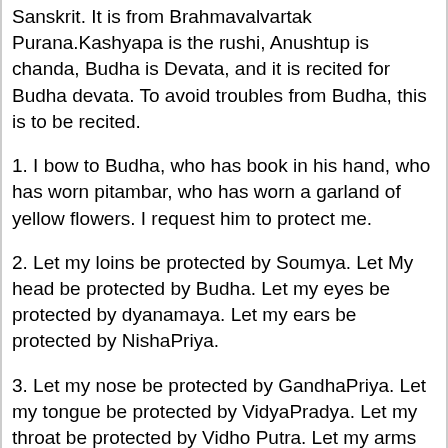Sanskrit. It is from Brahmavalvartak Purana.Kashyapa is the rushi, Anushtup is chanda, Budha is Devata, and it is recited for Budha devata. To avoid troubles from Budha, this is to be recited.
1. I bow to Budha, who has book in his hand, who has worn pitambar, who has worn a garland of yellow flowers. I request him to protect me.
2. Let my loins be protected by Soumya. Let My head be protected by Budha. Let my eyes be protected by dyanamaya. Let my ears be protected by NishaPriya.
3. Let my nose be protected by GandhaPriya. Let my tongue be protected by VidyaPradya. Let my throat be protected by Vidho Putra. Let my arms be protected by Pustaka Bhushana.
4. Let my breast be protected by Varanga. Let my heart be protected by RohiniSuta. Let my naval be